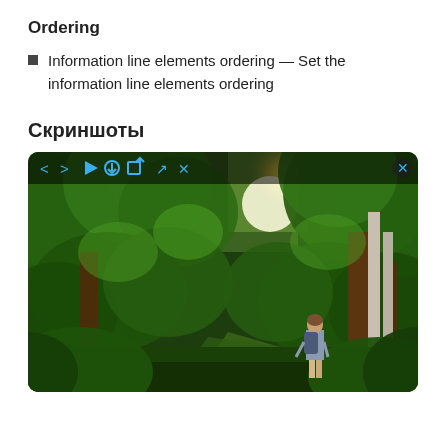Ordering
Information line elements ordering — Set the information line elements ordering
Скриншоты
[Figure (screenshot): A screenshot of a photo viewer showing a person with a backpack walking through a lush green forest with sunlight breaking through the trees. The viewer has navigation controls (back, forward, play, download, share, fullscreen, close) at the top.]